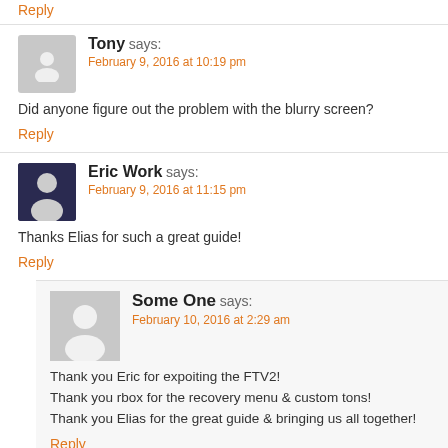Reply
Tony says:
February 9, 2016 at 10:19 pm
Did anyone figure out the problem with the blurry screen?
Reply
Eric Work says:
February 9, 2016 at 11:15 pm
Thanks Elias for such a great guide!
Reply
Some One says:
February 10, 2016 at 2:29 am
Thank you Eric for expoiting the FTV2!
Thank you rbox for the recovery menu & custom tons!
Thank you Elias for the great guide & bringing us all together!
Reply